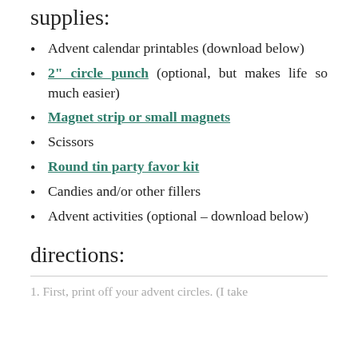supplies:
Advent calendar printables (download below)
2" circle punch (optional, but makes life so much easier)
Magnet strip or small magnets
Scissors
Round tin party favor kit
Candies and/or other fillers
Advent activities (optional – download below)
directions:
1. First, print off your advent circles. (I take